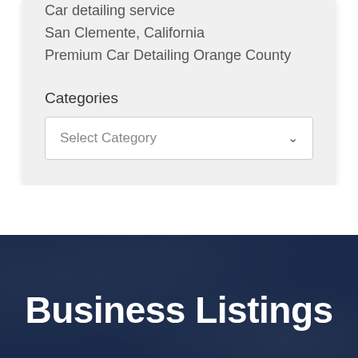Car detailing service
San Clemente, California
Premium Car Detailing Orange County
Categories
[Figure (screenshot): A dropdown input labeled 'Select Category' with a chevron arrow on the right side]
Business Listings